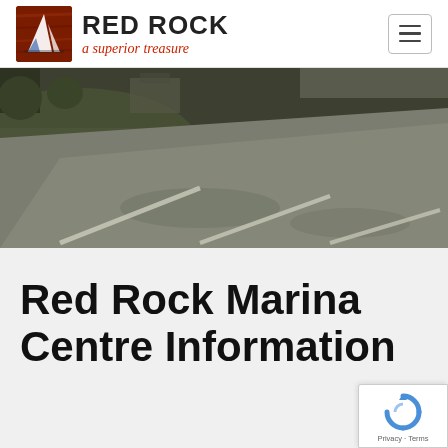RED ROCK a superior treasure
[Figure (photo): Aerial or elevated view of a gravel or dirt parking/road area with grassy surroundings, muted greens and grays, taken from above at an angle. White lines or markers visible on the surface.]
Red Rock Marina Centre Information